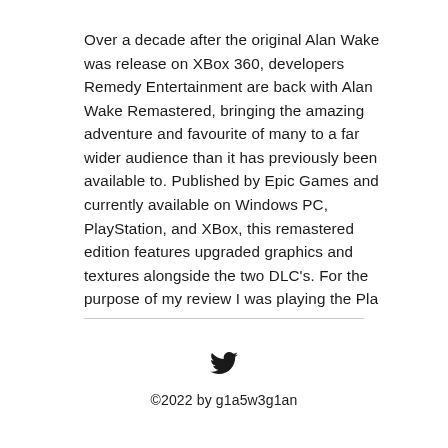Over a decade after the original Alan Wake was release on XBox 360, developers Remedy Entertainment are back with Alan Wake Remastered, bringing the amazing adventure and favourite of many to a far wider audience than it has previously been available to. Published by Epic Games and currently available on Windows PC, PlayStation, and XBox, this remastered edition features upgraded graphics and textures alongside the two DLC's. For the purpose of my review I was playing the Pla
[Figure (illustration): Twitter bird logo icon in black]
©2022 by g1a5w3g1an